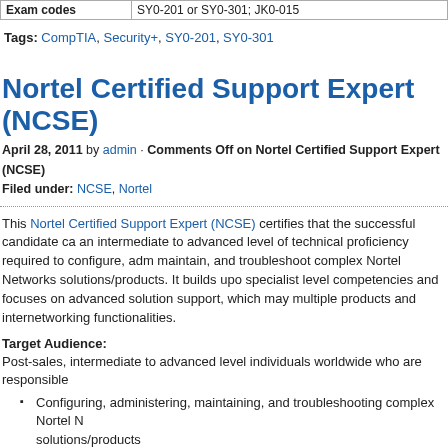| Exam codes | SY0-201 or SY0-301; JK0-015 |
| --- | --- |
Tags: CompTIA, Security+, SY0-201, SY0-301
Nortel Certified Support Expert (NCSE)
April 28, 2011 by admin · Comments Off on Nortel Certified Support Expert (NCSE)
Filed under: NCSE, Nortel
This Nortel Certified Support Expert (NCSE) certifies that the successful candidate can an intermediate to advanced level of technical proficiency required to configure, adm maintain, and troubleshoot complex Nortel Networks solutions/products. It builds upo specialist level competencies and focuses on advanced solution support, which may multiple products and internetworking functionalities.
Target Audience:
Post-sales, intermediate to advanced level individuals worldwide who are responsible
Configuring, administering, maintaining, and troubleshooting complex Nortel N solutions/products
Analyzing and resolving complex technical issues (either locally or remotely)
Supporting other technicians (either locally or remotely, such as field technici are experiencing complex technical issues
Demonstrated Skills:
A candidate who is already certified...